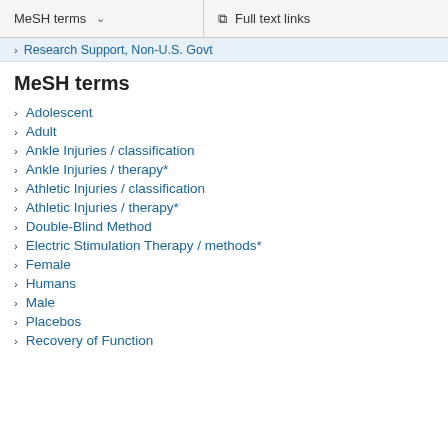MeSH terms   ∨   Full text links
Research Support, Non-U.S. Govt
MeSH terms
Adolescent
Adult
Ankle Injuries / classification
Ankle Injuries / therapy*
Athletic Injuries / classification
Athletic Injuries / therapy*
Double-Blind Method
Electric Stimulation Therapy / methods*
Female
Humans
Male
Placebos
Recovery of Function